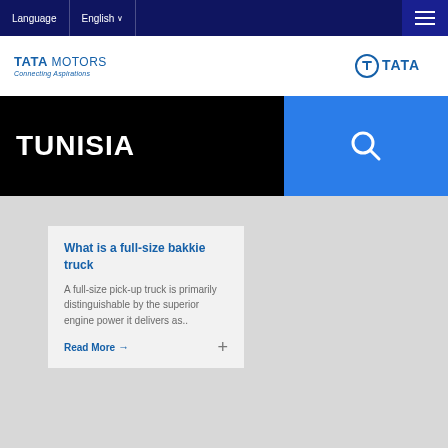Language   English   ☰
[Figure (logo): Tata Motors logo with 'Connecting Aspirations' tagline]
[Figure (logo): Tata group logo]
TUNISIA
[Figure (other): Search icon on blue background]
What is a full-size bakkie truck
A full-size pick-up truck is primarily distinguishable by the superior engine power it delivers as..
Read More →